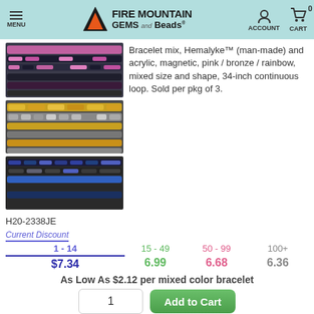Fire Mountain Gems and Beads - MENU | ACCOUNT | CART 0
[Figure (photo): Three rows of magnetic bracelets: pink/black/rainbow, gold/silver, and dark iridescent/rainbow colors]
Bracelet mix, Hemalyke™ (man-made) and acrylic, magnetic, pink / bronze / rainbow, mixed size and shape, 34-inch continuous loop. Sold per pkg of 3.
H20-2338JE
| 1 - 14 | 15 - 49 | 50 - 99 | 100+ |
| --- | --- | --- | --- |
| $7.34 | 6.99 | 6.68 | 6.36 |
As Low As $2.12 per mixed color bracelet
Other Package Size(s) Here
REGULAR STOCK
[Figure (photo): Stainless steel pendant, matte and shiny trickle style]
IN STOCK
Pendant, stainless steel, 20.5x19mm matte and shiny trickle. Sold